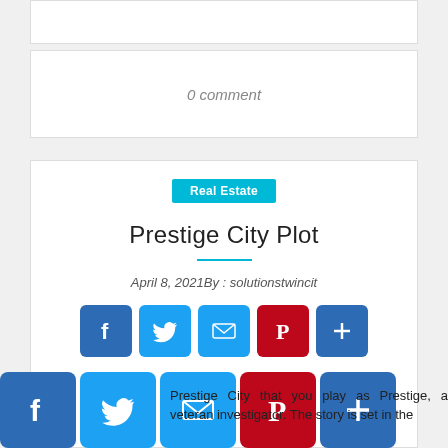0 comment
Real Estate
Prestige City Plot
April 8, 2021By : solutionstwincit
[Figure (other): Social share buttons: Facebook, Twitter, Email, Pinterest, Plus]
[Figure (other): Bottom social share bar: Facebook, Twitter, Email, Pinterest, Plus]
Prestige City that you play as Prestige, a veteran investigator. The story is set in the